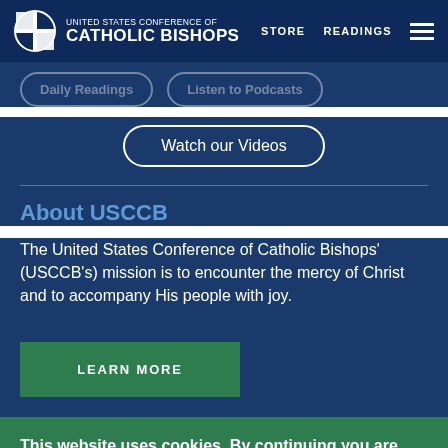United States Conference of Catholic Bishops — STORE   READINGS
[Figure (screenshot): USCCB website navigation bar with logo, STORE and READINGS links, and hamburger menu]
Daily Readings   Listen to Podcasts
Watch our Videos
About USCCB
The United States Conference of Catholic Bishops' (USCCB's) mission is to encounter the mercy of Christ and to accompany His people with joy.
LEARN MORE
This website uses cookies. By continuing you are agreeing to our Privacy Policy
CLOSE  X